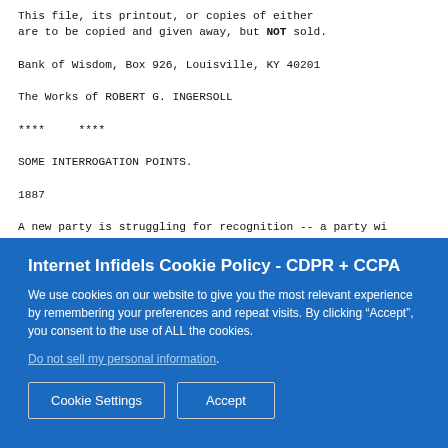This file, its printout, or copies of either
are to be copied and given away, but NOT sold.

Bank of Wisdom, Box 926, Louisville, KY 40201

The Works of ROBERT G. INGERSOLL

****     ****

SOME INTERROGATION POINTS.

1887

A new party is struggling for recognition -- a party wi
leaders who are not politicians, with followers who are
after place. Some of those who suffer and some of those
sympathize, have combined. Those who feel that they are
Internet Infidels Cookie Policy - CDPR + CCPA

We use cookies on our website to give you the most relevant experience by remembering your preferences and repeat visits. By clicking “Accept”, you consent to the use of ALL the cookies.

Do not sell my personal information.

Cookie Settings    Accept